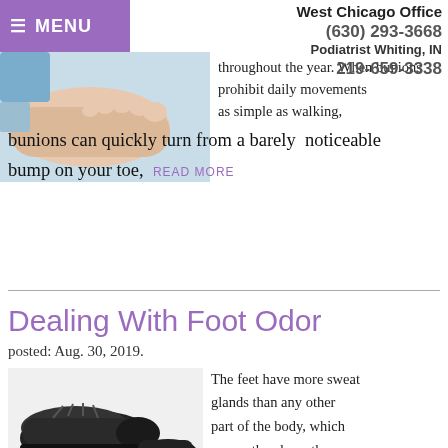≡ MENU
West Chicago Office
(630) 293-3668
Podiatrist Whiting, IN
219-659-3338
[Figure (photo): Photo of a foot/ankle on white background]
throughout the year. When bunions prohibit daily movements as simple as walking, bunions can quickly turn from a barely noticeable bump on your toe,
READ MORE
Dealing With Foot Odor
posted: Aug. 30, 2019.
[Figure (photo): Photo of a pair of black leather dress shoes on white background]
The feet have more sweat glands than any other part of the body, which means they have the ability to generate a lot of